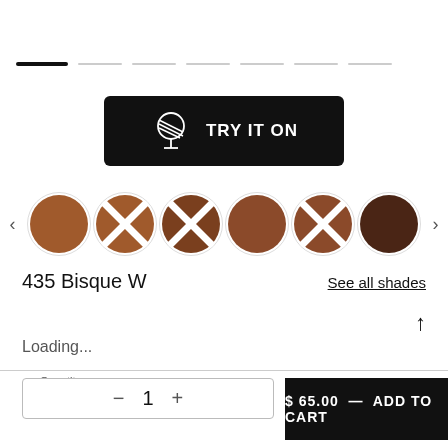[Figure (infographic): Carousel dot indicators: one solid black line followed by multiple dashed gray lines]
[Figure (infographic): Black button with mirror/vanity icon and text TRY IT ON]
[Figure (infographic): Row of makeup shade swatches: 6 circular swatches in brown tones, alternating solid and X-pattern, with left and right arrow navigation buttons]
435 Bisque W
See all shades
Loading...
Quantity
1
$ 65.00 — ADD TO CART